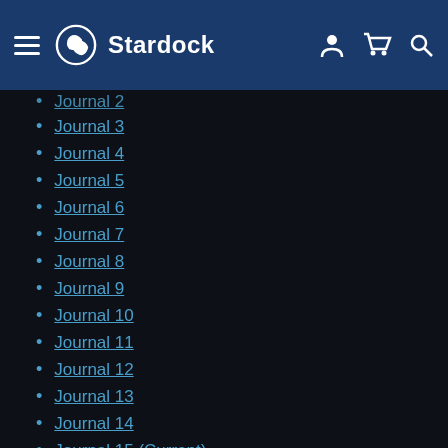Stardock navigation bar
Journal 2
Journal 3
Journal 4
Journal 5
Journal 6
Journal 7
Journal 8
Journal 9
Journal 10
Journal 11
Journal 12
Journal 13
Journal 14
Journal 15 (Current)
Journal 16
Journal 17
Journal 18